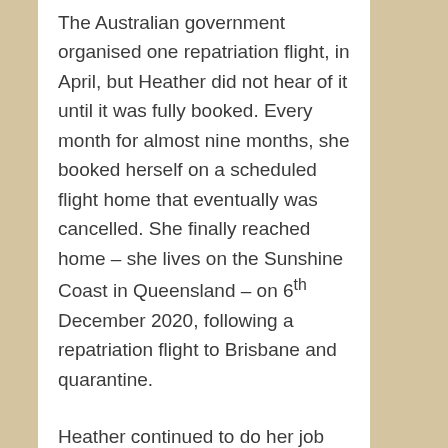The Australian government organised one repatriation flight, in April, but Heather did not hear of it until it was fully booked. Every month for almost nine months, she booked herself on a scheduled flight home that eventually was cancelled. She finally reached home – she lives on the Sunshine Coast in Queensland – on 6th December 2020, following a repatriation flight to Brisbane and quarantine.
Heather continued to do her job for the whole time she was away. Because the visit she had